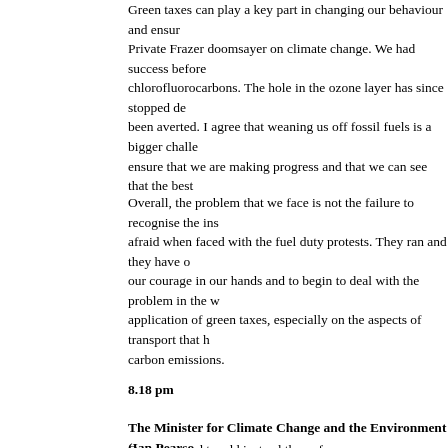Green taxes can play a key part in changing our behaviour and ensur... Private Frazer doomsayer on climate change. We had success before... chlorofluorocarbons. The hole in the ozone layer has since stopped de... been averted. I agree that weaning us off fossil fuels is a bigger challe... ensure that we are making progress and that we can see that the best...
Overall, the problem that we face is not the failure to recognise the ins... afraid when faced with the fuel duty protests. They ran and they have ... our courage in our hands and to begin to deal with the problem in the ... application of green taxes, especially on the aspects of transport that ... carbon emissions.
8.18 pm
The Minister for Climate Change and the Environment (Ian Pearso...
Question, and to add instead thereof:
“welcomes the UK’s climate change programme which has alre... per cent. cut in 1990 levels of greenhouse gas emissions by 20... ambitious target to cut carbon dioxide emissions by 20 per cent... Change Levy, which has already saved 28 million tonnes of car... by over seven million tonnes per year; congratulates the Gover... Landfill Tax and Landfill Allowance Trading Scheme and contrib... introduction in the UK of the world’s first international emissions... energy-intensive industries; further welcomes the Government’s... further welcomes the Government’s energy review, which propo... carbon emissions per year by 2020 and to put the UK economy... 2050; congratulates the Government on its commitment to deliv... growth and employment as well as high standards of environm... environmental protection, locally, nationally and globally at the...